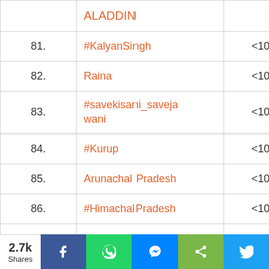| # | Trending Topic | Volume |
| --- | --- | --- |
|  | ALADDIN |  |
| 81. | #KalyanSingh | <10K |
| 82. | Raina | <10K |
| 83. | #savekisani_savejawani | <10K |
| 84. | #Kurup | <10K |
| 85. | Arunachal Pradesh | <10K |
| 86. | #HimachalPradesh | <10K |
| 87. | Hrithik Roshan | <10K |
| 88. | #sundayvibes | <10K |